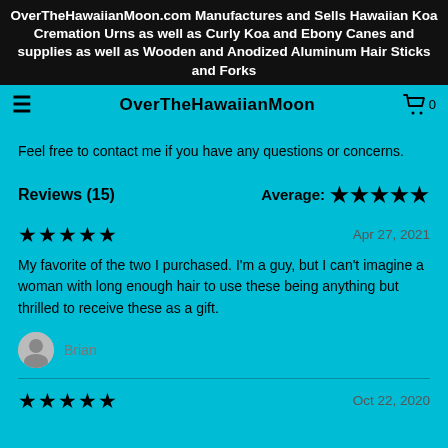OverTheHawaiianMoon.com Manufactures and Sells Hawaiian Koa Cremation Urns as well as Curly Koa and Ebony Canes and supplies as well as Wooden and Anodized Aluminum Hair Sticks and Forks
OverTheHawaiianMoon
Feel free to contact me if you have any questions or concerns.
Reviews (15)   Average: ★★★★★
★★★★★   Apr 27, 2021
My favorite of the two I purchased. I'm a guy, but I can't imagine a woman with long enough hair to use these being anything but thrilled to receive these as a gift.
Brian
★★★★★   Oct 22, 2020